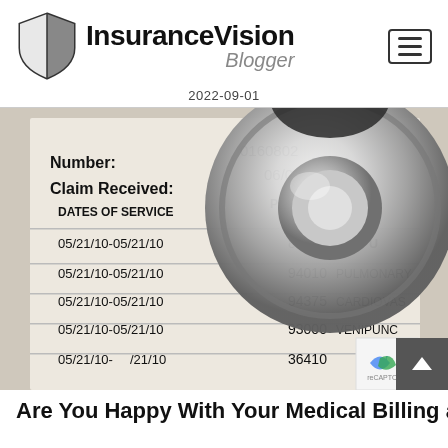InsuranceVision Blogger
2022-09-01
[Figure (photo): A stethoscope resting on a medical insurance claim form showing dates of service 05/21/10, procedure codes 82272, 94010, 94375, 93000, 36410 and descriptions including PULMONARY, CARDIOVAS, VENIPUNC]
Are You Happy With Your Medical Billing and